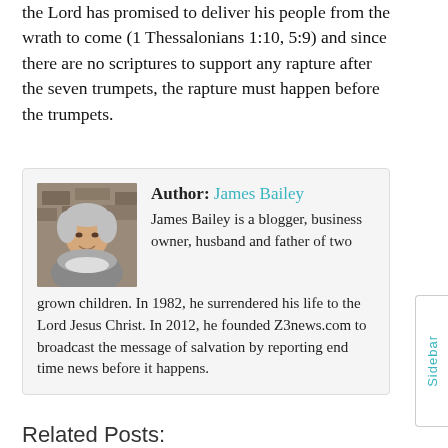the Lord has promised to deliver his people from the wrath to come (1 Thessalonians 1:10, 5:9) and since there are no scriptures to support any rapture after the seven trumpets, the rapture must happen before the trumpets.
Author: James Bailey
James Bailey is a blogger, business owner, husband and father of two grown children. In 1982, he surrendered his life to the Lord Jesus Christ. In 2012, he founded Z3news.com to broadcast the message of salvation by reporting end time news before it happens.
Related Posts: